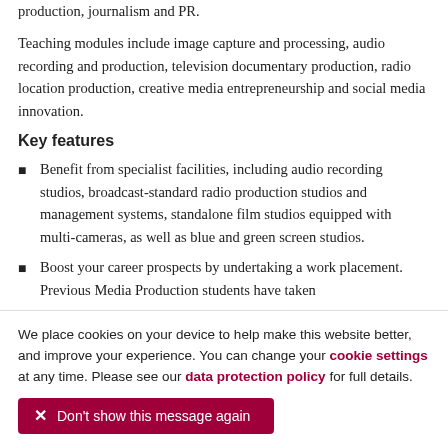production, journalism and PR.
Teaching modules include image capture and processing, audio recording and production, television documentary production, radio location production, creative media entrepreneurship and social media innovation.
Key features
Benefit from specialist facilities, including audio recording studios, broadcast-standard radio production studios and management systems, standalone film studios equipped with multi-cameras, as well as blue and green screen studios.
Boost your career prospects by undertaking a work placement. Previous Media Production students have taken
We place cookies on your device to help make this website better, and improve your experience. You can change your cookie settings at any time. Please see our data protection policy for full details.
Don't show this message again